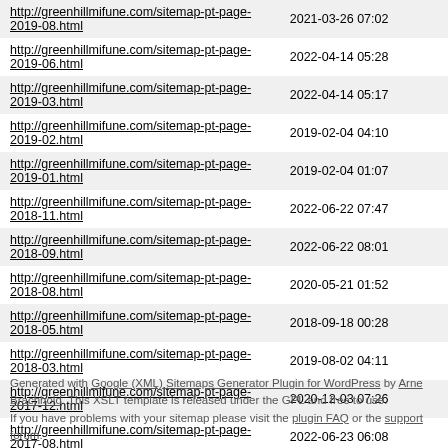| URL | Last Modified |
| --- | --- |
| http://greenhillmifune.com/sitemap-pt-page-2019-08.html | 2021-03-26 07:02 |
| http://greenhillmifune.com/sitemap-pt-page-2019-06.html | 2022-04-14 05:28 |
| http://greenhillmifune.com/sitemap-pt-page-2019-03.html | 2022-04-14 05:17 |
| http://greenhillmifune.com/sitemap-pt-page-2019-02.html | 2019-02-04 04:10 |
| http://greenhillmifune.com/sitemap-pt-page-2019-01.html | 2019-02-04 01:07 |
| http://greenhillmifune.com/sitemap-pt-page-2018-11.html | 2022-06-22 07:47 |
| http://greenhillmifune.com/sitemap-pt-page-2018-09.html | 2022-06-22 08:01 |
| http://greenhillmifune.com/sitemap-pt-page-2018-08.html | 2020-05-21 01:52 |
| http://greenhillmifune.com/sitemap-pt-page-2018-05.html | 2018-09-18 00:28 |
| http://greenhillmifune.com/sitemap-pt-page-2018-03.html | 2019-08-02 04:11 |
| http://greenhillmifune.com/sitemap-pt-page-2017-12.html | 2020-12-03 07:26 |
| http://greenhillmifune.com/sitemap-pt-page-2017-08.html | 2022-06-23 06:08 |
| http://greenhillmifune.com/sitemap-pt-page-2017-04.html | 2022-06-23 06:37 |
| http://greenhillmifune.com/sitemap-pt-page-2017-03.html | 2020-12-24 05:52 |
| http://greenhillmifune.com/sitemap-pt-page-2016-10.html | 2022-05-19 05:59 |
| http://greenhillmifune.com/sitemap-pt-page-2016-09.html | 2022-06-23 07:44 |
Generated with Google (XML) Sitemaps Generator Plugin for WordPress by Arne Brachhold. This XSLT template is released under the GPL and free to use. If you have problems with your sitemap please visit the plugin FAQ or the support forum.